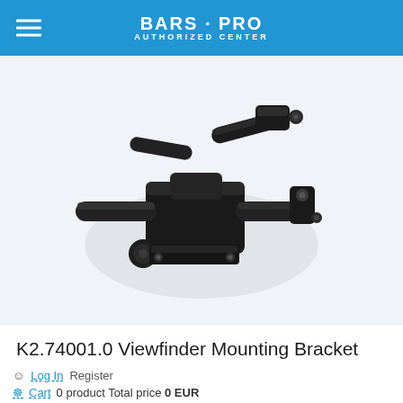BARS·PRO AUTHORIZED CENTER
[Figure (photo): A black viewfinder mounting bracket photographed from above on a white/light background. The mechanical bracket has multiple articulating arms, clamps, and adjustment knobs.]
K2.74001.0 Viewfinder Mounting Bracket
Log In  Register
Cart  0 product  Total price  0 EUR